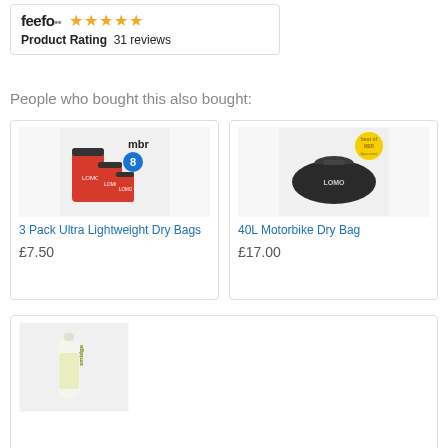[Figure (logo): Feefo product rating badge showing 5 stars and 31 reviews]
People who bought this also bought:
[Figure (photo): 3 Pack Ultra Lightweight Dry Bags - red dry bags with MBR logo and rating 8]
3 Pack Ultra Lightweight Dry Bags
£7.50
[Figure (photo): 40L Motorbike Dry Bag - black dry bag with LOMO branding and award badge]
40L Motorbike Dry Bag
£17.00
[Figure (photo): Smidge Repellent - 75ml Spray bottle]
Smidge Repellent - 75ml Spray
£8.99